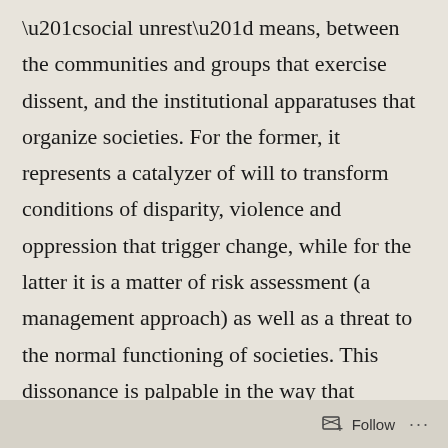“social unrest” means, between the communities and groups that exercise dissent, and the institutional apparatuses that organize societies. For the former, it represents a catalyzer of will to transform conditions of disparity, violence and oppression that trigger change, while for the latter it is a matter of risk assessment (a management approach) as well as a threat to the normal functioning of societies. This dissonance is palpable in the way that governments respond to demonstrations, as it has been seen recently in the case of the overarching crises to dis...
Follow ···